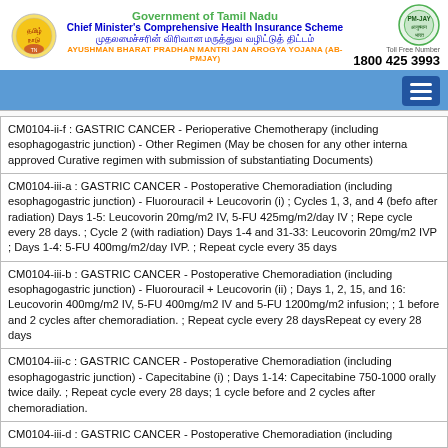Government of Tamil Nadu
Chief Minister's Comprehensive Health Insurance Scheme
AYUSHMAN BHARAT PRADHAN MANTRI JAN AROGYA YOJANA (AB-PMJAY)
Toll Free Number: 1800 425 3993
CM0104-ii-f : GASTRIC CANCER - Perioperative Chemotherapy (including esophagogastric junction) - Other Regimen (May be chosen for any other internationally approved Curative regimen with submission of substantiating Documents)
CM0104-iii-a : GASTRIC CANCER - Postoperative Chemoradiation (including esophagogastric junction) - Fluorouracil + Leucovorin (i) ; Cycles 1, 3, and 4 (before and after radiation) Days 1-5: Leucovorin 20mg/m2 IV, 5-FU 425mg/m2/day IV ; Repeat cycle every 28 days. ; Cycle 2 (with radiation) Days 1-4 and 31-33: Leucovorin 20mg/m2 IVP ; Days 1-4: 5-FU 400mg/m2/day IVP. ; Repeat cycle every 35 days
CM0104-iii-b : GASTRIC CANCER - Postoperative Chemoradiation (including esophagogastric junction) - Fluorouracil + Leucovorin (ii) ; Days 1, 2, 15, and 16: Leucovorin 400mg/m2 IV, 5-FU 400mg/m2 IV and 5-FU 1200mg/m2 infusion; ; 1 before and 2 cycles after chemoradiation. ; Repeat cycle every 28 daysRepeat cycle every 28 days
CM0104-iii-c : GASTRIC CANCER - Postoperative Chemoradiation (including esophagogastric junction) - Capecitabine (i) ; Days 1-14: Capecitabine 750-1000 mg/m2 orally twice daily. ; Repeat cycle every 28 days; 1 cycle before and 2 cycles after chemoradiation.
CM0104-iii-d : GASTRIC CANCER - Postoperative Chemoradiation (including